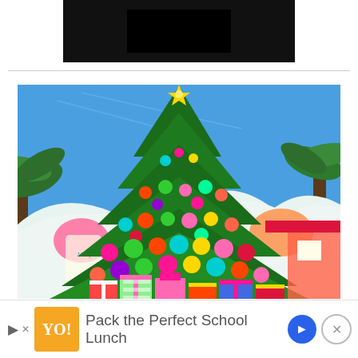[Figure (screenshot): Dark/black video player placeholder at top center of page]
[Figure (photo): Large Christmas tree decorated with colorful ornaments (pink, green, teal, gold, red) against a bright blue sky. Palm trees visible on sides. Wrapped presents at base. Whimsical Dr. Seuss-style snowy backdrop with colorful decorations. Gold star topper. Theme park setting (Universal Studios).]
This website uses cookies to improve your experience. We'll assume you're ok with this, but you can opt-out if you wish.
Dine-in  Curbside pickup
Pack the Perfect School Lunch